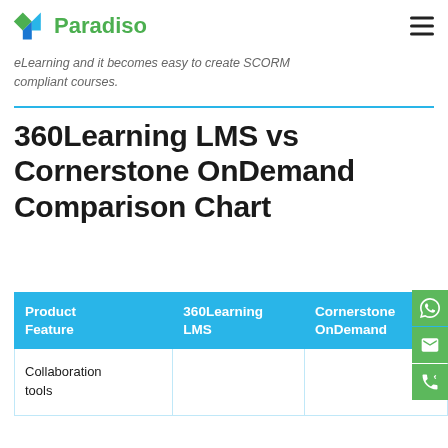Paradiso
...eLearning and it becomes easy to create SCORM compliant courses.
360Learning LMS vs Cornerstone OnDemand Comparison Chart
| Product Feature | 360Learning LMS | Cornerstone OnDemand |
| --- | --- | --- |
| Collaboration tools |  |  |